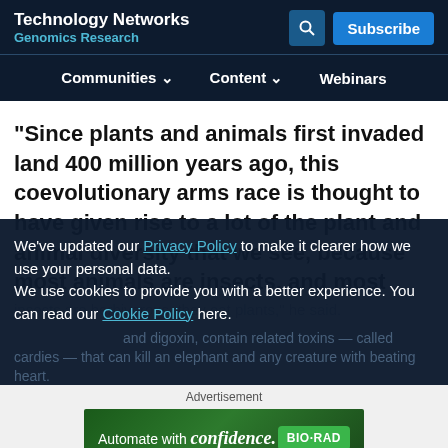Technology Networks
Genomics Research
Communities  Content  Webinars
"Since plants and animals first invaded land 400 million years ago, this coevolutionary arms race is thought to have given rise to a lot of the plant and animal diversity that we see, because most animals are insects, and most insects are herbivorous, they eat plants," he said.
We've updated our Privacy Policy to make it clearer how we use your personal data.
We use cookies to provide you with a better experience. You can read our Cookie Policy here.
I Understand
Advertisement
[Figure (other): Bio-Rad advertisement banner: 'Automate with confidence.' with Bio-Rad green logo badge]